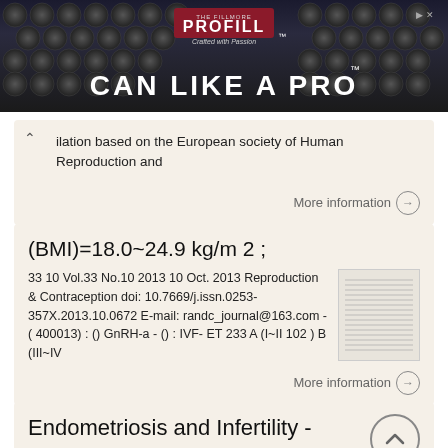[Figure (photo): Advertisement banner reading 'CAN LIKE A PRO' with PROFILL brand logo on a dark background of metallic cans]
ilation based on the European society of Human Reproduction and
More information →
(BMI)=18.0~24.9 kg/m 2 ;
33 10 Vol.33 No.10 2013 10 Oct. 2013 Reproduction & Contraception doi: 10.7669/j.issn.0253-357X.2013.10.0672 E-mail: randc_journal@163.com - ( 400013) : () GnRH-a - () : IVF- ET 233 A (I~II 102 ) B (III~IV
More information →
Endometriosis and Infertility - FAQs